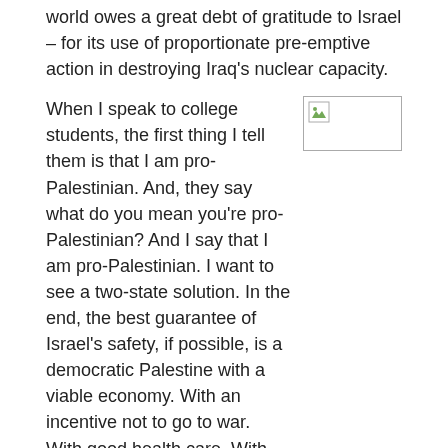world owes a great debt of gratitude to Israel – for its use of proportionate pre-emptive action in destroying Iraq's nuclear capacity.
When I speak to college students, the first thing I tell them is that I am pro-Palestinian. And, they say what do you mean you're pro-Palestinian? And I say that I am pro-Palestinian. I want to see a two-state solution. In the end, the best guarantee of Israel's safety, if possible, is a democratic Palestine with a viable economy. With an incentive not to go to war. With good health care. With good schools, with real education. With real democracy, with real economic viability.
[Figure (photo): Broken/missing image placeholder with small image icon in top-left corner]
It was not I who turned down statehood for the Palestinians in 2000/2001. That was Yasser Arafat. It was not I who deflected